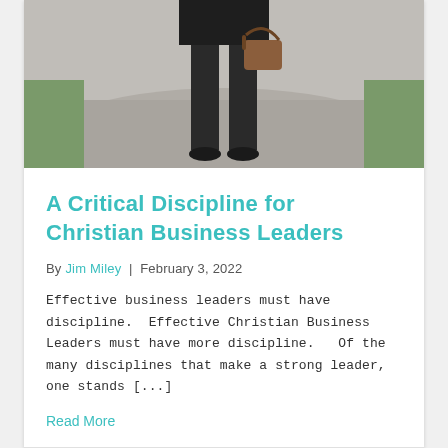[Figure (photo): Photo of a person from the waist down wearing dark suit pants and shoes, holding a brown leather bag, standing on a gravel path with greenery in the background.]
A Critical Discipline for Christian Business Leaders
By Jim Miley  |  February 3, 2022
Effective business leaders must have discipline.  Effective Christian Business Leaders must have more discipline.   Of the many disciplines that make a strong leader, one stands [...]
Read More